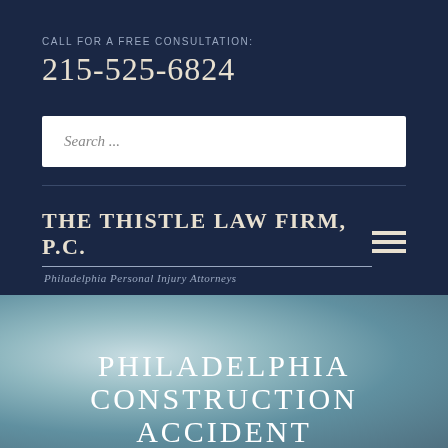CALL FOR A FREE CONSULTATION:
215-525-6824
Search ...
THE THISTLE LAW FIRM, P.C.
Philadelphia Personal Injury Attorneys
PHILADELPHIA CONSTRUCTION ACCIDENT